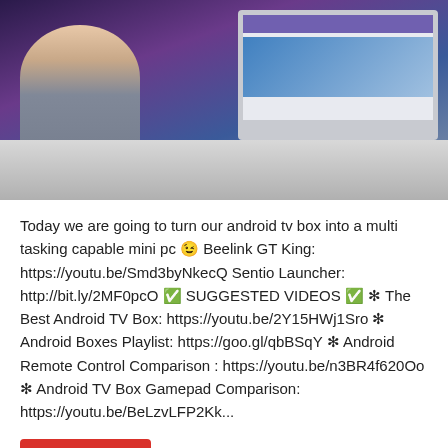[Figure (photo): A man giving a thumbs up next to a computer monitor showing a desktop interface, with keyboard and mouse on a desk]
Today we are going to turn our android tv box into a multi tasking capable mini pc 😉 Beelink GT King: https://youtu.be/Smd3byNkecQ Sentio Launcher: http://bit.ly/2MF0pcO ✅ SUGGESTED VIDEOS ✅ ✳ The Best Android TV Box: https://youtu.be/2Y15HWj1Sro ✳ Android Boxes Playlist: https://goo.gl/qbBSqY ✳ Android Remote Control Comparison : https://youtu.be/n3BR4f620Oo ✳ Android TV Box Gamepad Comparison: https://youtu.be/BeLzvLFP2Kk...
Read More »
JOGGING Earbuds 🏃 Spunky Buds